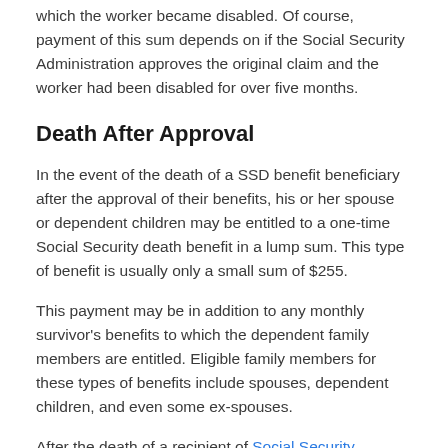which the worker became disabled. Of course, payment of this sum depends on if the Social Security Administration approves the original claim and the worker had been disabled for over five months.
Death After Approval
In the event of the death of a SSD benefit beneficiary after the approval of their benefits, his or her spouse or dependent children may be entitled to a one-time Social Security death benefit in a lump sum. This type of benefit is usually only a small sum of $255.
This payment may be in addition to any monthly survivor's benefits to which the dependent family members are entitled. Eligible family members for these types of benefits include spouses, dependent children, and even some ex-spouses.
After the death of a recipient of Social Security Disability Insurance (SSDI) benefits, which are based on the disabled worker's employment history and how much they had